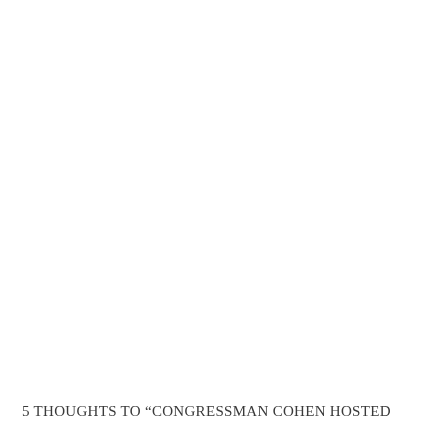5 THOUGHTS TO “CONGRESSMAN COHEN HOSTED